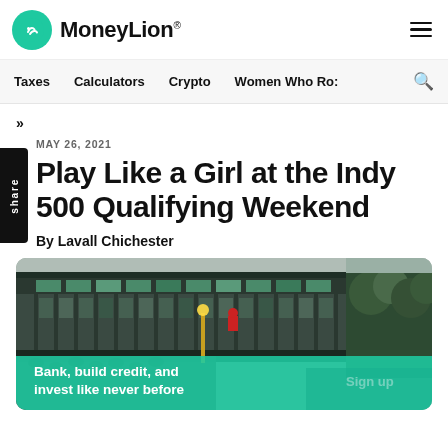MoneyLion
Taxes | Calculators | Crypto | Women Who Ro:
»
MAY 26, 2021
Play Like a Girl at the Indy 500 Qualifying Weekend
By Lavall Chichester
[Figure (photo): Exterior view of a large modern grandstand building at the Indianapolis Motor Speedway with trees visible on the right. People are visible below. A teal CTA overlay reads 'Bank, build credit, and invest like never before' with a 'Sign up' button.]